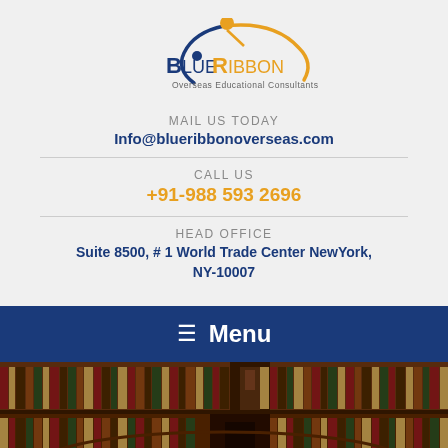[Figure (logo): Blue Ribbon Overseas Educational Consultants logo with blue and orange swoosh figure]
MAIL US TODAY
Info@blueribbonoverseas.com
CALL US
+91-988 593 2696
HEAD OFFICE
Suite 8500, # 1 World Trade Center NewYork, NY-10007
≡ Menu
[Figure (photo): Interior of a large library with floor-to-ceiling bookshelves filled with books, multiple levels visible]